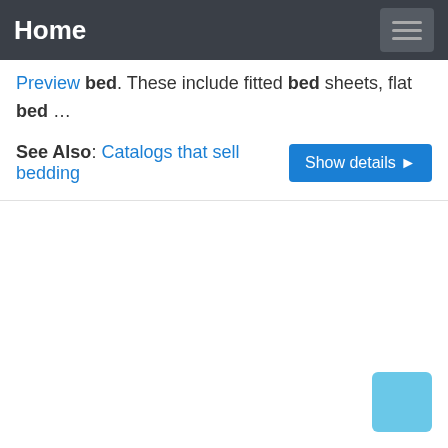Home
Preview bed. These include fitted bed sheets, flat bed …
See Also: Catalogs that sell bedding
[Figure (other): Light blue floating action button in the bottom right corner]